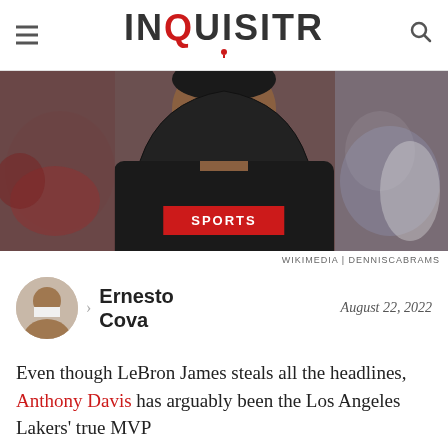INQUISITR
[Figure (photo): A man wearing a black hoodie photographed from the shoulders up, with a blurred crowd in the background. A red badge reading SPORTS is overlaid at the bottom center.]
WIKIMEDIA | DENNISCABRAMS
Ernesto Cova   August 22, 2022
Even though LeBron James steals all the headlines, Anthony Davis has arguably been the Los Angeles Lakers' true MVP